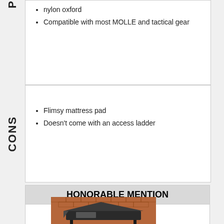nylon oxford
Compatible with most MOLLE and tactical gear
Flimsy mattress pad
Doesn't come with an access ladder
HONORABLE MENTION
[Figure (photo): Rooftop tent mounted on a vehicle, photographed against a brick wall background]